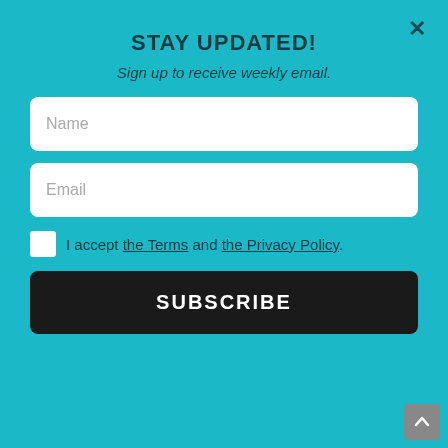STAY UPDATED!
Sign up to receive weekly email.
[Figure (screenshot): Email subscription popup form with Name and Email input fields, a checkbox for accepting Terms and Privacy Policy, and a SUBSCRIBE button on a teal/cyan background. An 'X' close button is in the top right corner.]
Whether you’re adding veggies to a salad, or simply enjoying some heavenly waffle cut fries, an essential tool for all the kitchens stuffs! Great for m...
Via Amazon
CHECK IT OUT